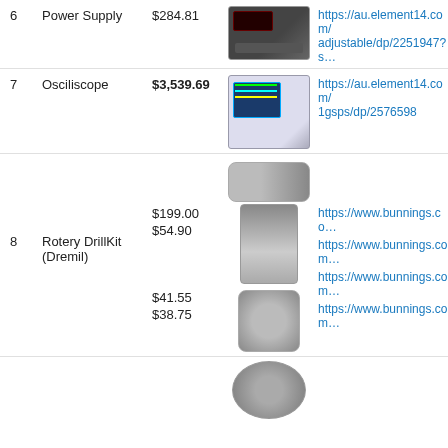| # | Item | Price | Image | Link |
| --- | --- | --- | --- | --- |
| 6 | Power Supply | $284.81 | [image] | https://au.element14.com/…adjustable/dp/2251947?s… |
| 7 | Osciliscope | $3,539.69 | [image] | https://au.element14.com/…1gsps/dp/2576598 |
| 8 | Rotery DrillKit (Dremil) | $199.00 / $54.90 / $41.55 / $38.75 | [images] | https://www.bunnings.co… (x4) |